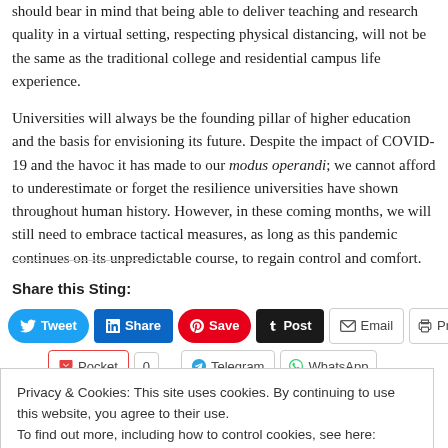should bear in mind that being able to deliver teaching and research quality in a virtual setting, respecting physical distancing, will not be the same as the traditional college and residential campus life experience.
Universities will always be the founding pillar of higher education and the basis for envisioning its future. Despite the impact of COVID-19 and the havoc it has made to our modus operandi; we cannot afford to underestimate or forget the resilience universities have shown throughout human history. However, in these coming months, we will still need to embrace tactical measures, as long as this pandemic continues on its unpredictable course, to regain control and comfort.
Share this Sting:
[Figure (infographic): Social sharing buttons: Tweet (Twitter/blue), Share (LinkedIn/blue), Save (Pinterest/red), Post (Tumblr/dark), Email, Print, Pocket (with count 0), Telegram, WhatsApp]
Privacy & Cookies: This site uses cookies. By continuing to use this website, you agree to their use.
To find out more, including how to control cookies, see here: Cookie Policy
Close and accept
Related